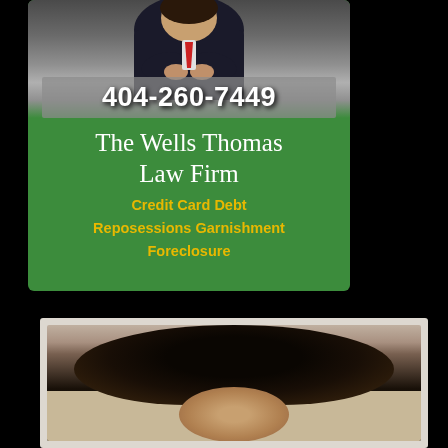[Figure (illustration): Advertisement card for The Wells Thomas Law Firm on green background. Shows a person in a dark suit with arms crossed at the top, a phone number '404-260-7449' on a gray banner, firm name in white serif text, and services listed in gold/yellow text: Credit Card Debt, Reposessions Garnishment, Foreclosure.]
[Figure (photo): Partial headshot photo of a person with dark hair, visible from the top of the head, set against a light beige/tan background. The photo is cropped showing only the top of the head.]